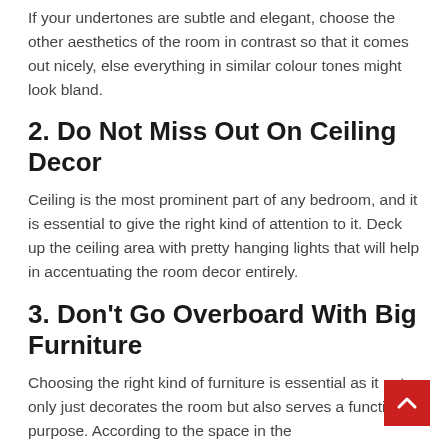If your undertones are subtle and elegant, choose the other aesthetics of the room in contrast so that it comes out nicely, else everything in similar colour tones might look bland.
2. Do Not Miss Out On Ceiling Decor
Ceiling is the most prominent part of any bedroom, and it is essential to give the right kind of attention to it. Deck up the ceiling area with pretty hanging lights that will help in accentuating the room decor entirely.
3. Don't Go Overboard With Big Furniture
Choosing the right kind of furniture is essential as it not only just decorates the room but also serves a functional purpose. According to the space in the